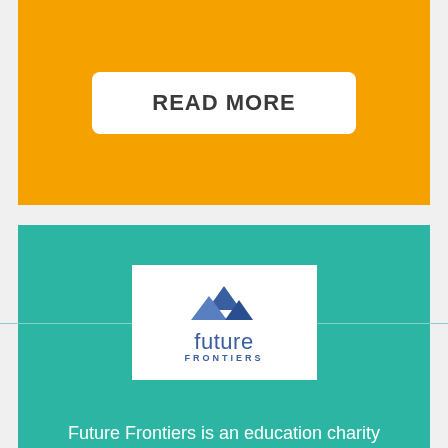READ MORE
[Figure (logo): Future Frontiers logo: mountain graphic above the word 'future' with 'FRONTIERS' in small caps below]
Future Frontiers is an education charity organization. They work with schools and business...